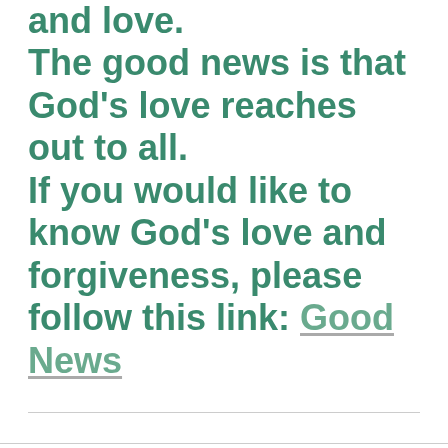and love. The good news is that God's love reaches out to all. If you would like to know God's love and forgiveness, please follow this link: Good News
Update: